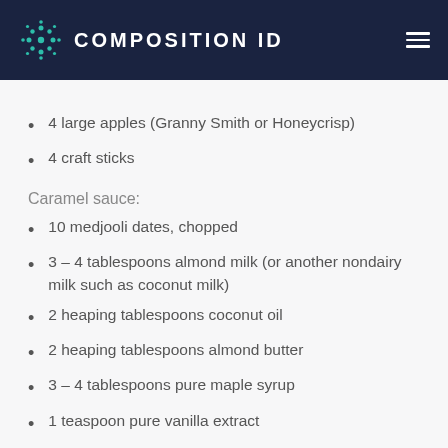COMPOSITION ID
4 large apples (Granny Smith or Honeycrisp)
4 craft sticks
Caramel sauce:
10 medjooli dates, chopped
3 – 4 tablespoons almond milk (or another nondairy milk such as coconut milk)
2 heaping tablespoons coconut oil
2 heaping tablespoons almond butter
3 – 4 tablespoons pure maple syrup
1 teaspoon pure vanilla extract